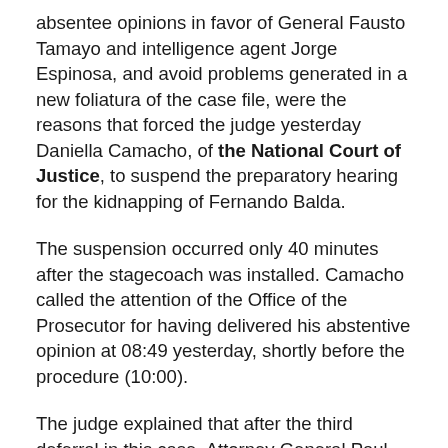absentee opinions in favor of General Fausto Tamayo and intelligence agent Jorge Espinosa, and avoid problems generated in a new foliatura of the case file, were the reasons that forced the judge yesterday Daniella Camacho, of the National Court of Justice, to suspend the preparatory hearing for the kidnapping of Fernando Balda.
The suspension occurred only 40 minutes after the stagecoach was installed. Camacho called the attention of the Office of the Prosecutor for having delivered his abstentive opinion at 08:49 yesterday, shortly before the procedure (10:00).
The judge explained that after the third deferral in this case, Attorney General Paul Perez had more than a month to inform the parties of his decision